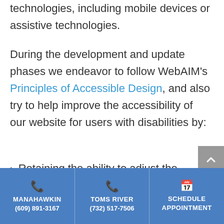technologies, including mobile devices or assistive technologies.
During the development and update phases we endeavor to follow WebAIM's Principles of Accessible Design, and also try to help improve the accessibility of our website for users with disabilities by:
Retaining the ability to adjust the
MANAHAWKIN (609) 891-3167 | TOMS RIVER (732) 517-7506 | SCHEDULE APPOINTMENT